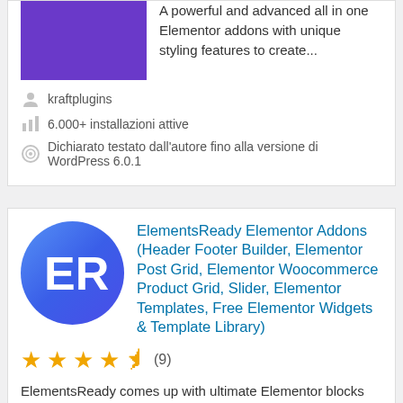[Figure (screenshot): Top plugin card (partial) showing purple banner image and description text: 'A powerful and advanced all in one Elementor addons with unique styling features to create...']
A powerful and advanced all in one Elementor addons with unique styling features to create...
kraftplugins
6.000+ installazioni attive
Dichiarato testato dall'autore fino alla versione di WordPress 6.0.1
[Figure (logo): ElementsReady blue circular logo with ER monogram]
ElementsReady Elementor Addons (Header Footer Builder, Elementor Post Grid, Elementor Woocommerce Product Grid, Slider, Elementor Templates, Free Elementor Widgets & Template Library)
Rating: 4.5 out of 5 stars (9 reviews)
ElementsReady comes up with ultimate Elementor blocks and widgets. Ready section and flexible